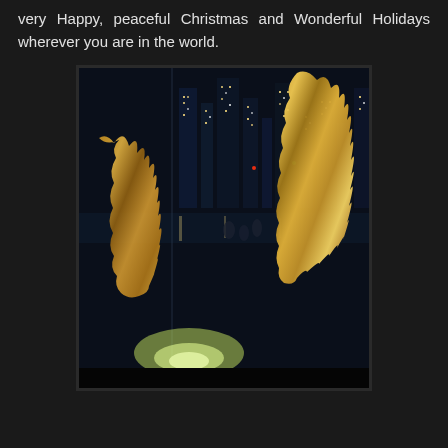very Happy, peaceful Christmas and Wonderful Holidays wherever you are in the world.
[Figure (photo): Night-time photograph showing golden/amber illuminated sculptural columns or decorative elements in the foreground, with a dark city skyline and reflective glass visible in the background. A glowing white/green base is visible at the bottom center.]